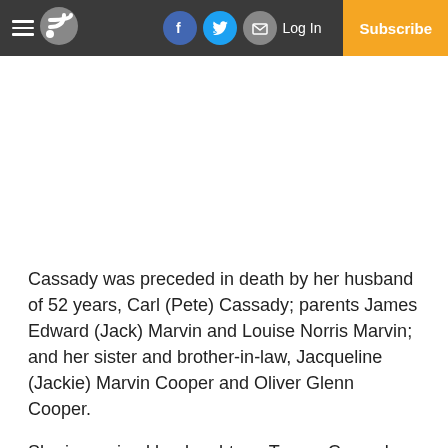Log In  Subscribe
Cassady was preceded in death by her husband of 52 years, Carl (Pete) Cassady; parents James Edward (Jack) Marvin and Louise Norris Marvin; and her sister and brother-in-law, Jacqueline (Jackie) Marvin Cooper and Oliver Glenn Cooper.
She is survived by daughters, Teresa Cassady Offord and husband John and Tracey Cassady Smith and